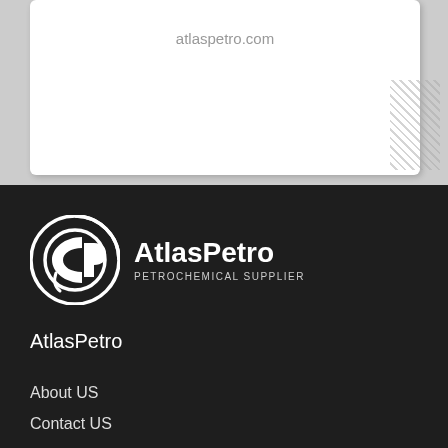atlaspetro.com
[Figure (logo): AtlasPetro Petrochemical Supplier logo — circular emblem with stylized AP letters in white on dark background, next to text AtlasPetro and subtitle PETROCHEMICAL SUPPLIER]
AtlasPetro
About US
Contact US